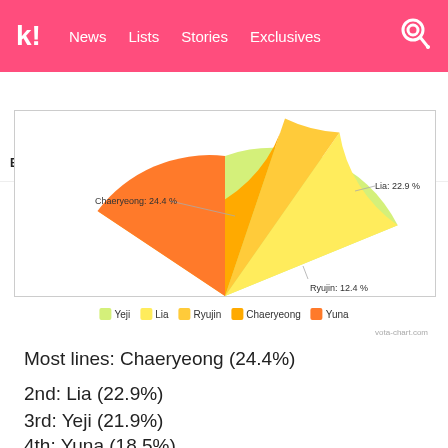k! News Lists Stories Exclusives
BTS BLACKPINK TWICE IVE aespa NCT GOT7
[Figure (pie-chart): ITZY line distribution]
Most lines: Chaeryeong (24.4%)
2nd: Lia (22.9%)
3rd: Yeji (21.9%)
4th: Yuna (18.5%)